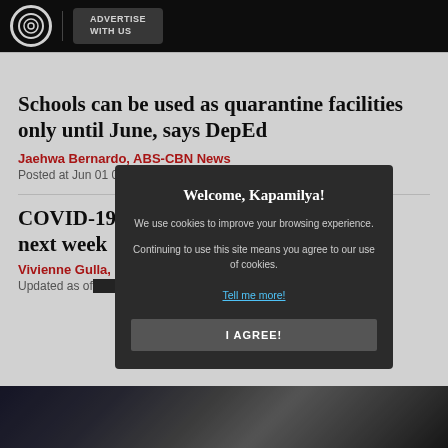ABS-CBN | ADVERTISE WITH US
Schools can be used as quarantine facilities only until June, says DepEd
Jaehwa Bernardo, ABS-CBN News
Posted at Jun 01 05:34 PM
COVID-19 d... ty to open next week
Vivienne Gulla, ...
Updated as of ...
[Figure (screenshot): Cookie consent modal with title 'Welcome, Kapamilya!', body text about cookies, a 'Tell me more!' link, and an 'I AGREE!' button]
[Figure (photo): Dark blurred photo at the bottom of the page]